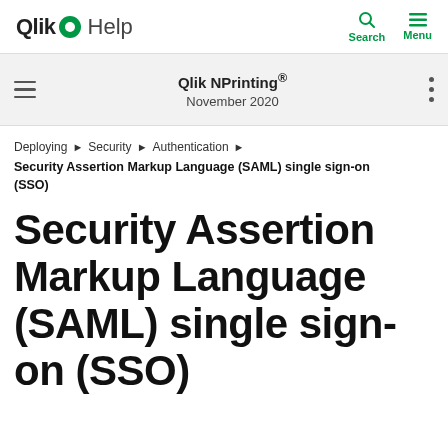Qlik Help | Search | Menu
Qlik NPrinting® November 2020
Deploying ▶ Security ▶ Authentication ▶ Security Assertion Markup Language (SAML) single sign-on (SSO)
Security Assertion Markup Language (SAML) single sign-on (SSO)